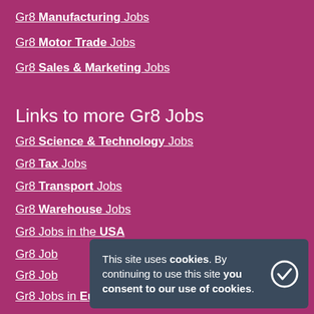Gr8 Manufacturing Jobs
Gr8 Motor Trade Jobs
Gr8 Sales & Marketing Jobs
Links to more Gr8 Jobs
Gr8 Science & Technology Jobs
Gr8 Tax Jobs
Gr8 Transport Jobs
Gr8 Warehouse Jobs
Gr8 Jobs in the USA
Gr8 Jobs in [Australia]
Gr8 Jobs in [Canada]
Gr8 Jobs in Europe
This site uses cookies. By continuing to use this site you consent to our use of cookies.